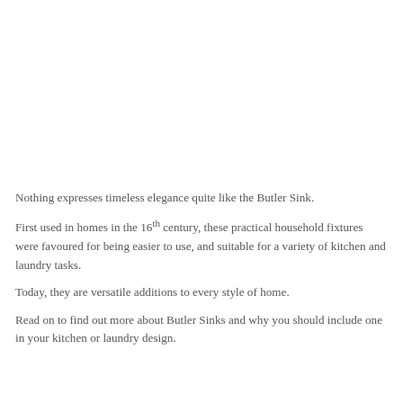Nothing expresses timeless elegance quite like the Butler Sink.
First used in homes in the 16th century, these practical household fixtures were favoured for being easier to use, and suitable for a variety of kitchen and laundry tasks.
Today, they are versatile additions to every style of home.
Read on to find out more about Butler Sinks and why you should include one in your kitchen or laundry design.